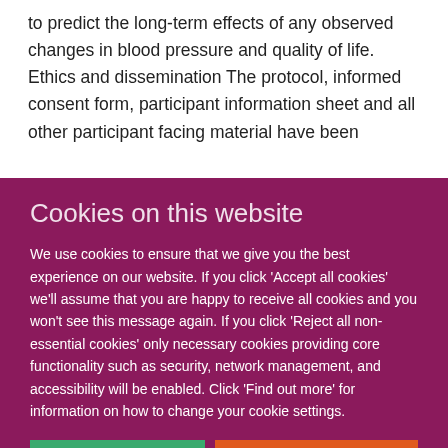to predict the long-term effects of any observed changes in blood pressure and quality of life. Ethics and dissemination The protocol, informed consent form, participant information sheet and all other participant facing material have been
Cookies on this website
We use cookies to ensure that we give you the best experience on our website. If you click 'Accept all cookies' we'll assume that you are happy to receive all cookies and you won't see this message again. If you click 'Reject all non-essential cookies' only necessary cookies providing core functionality such as security, network management, and accessibility will be enabled. Click 'Find out more' for information on how to change your cookie settings.
Accept all cookies
Reject all non-essential cookies
Find out more